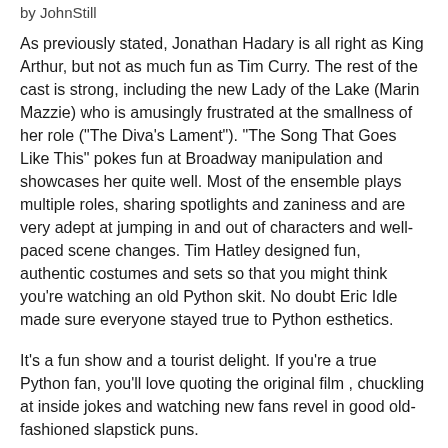by JohnStill
As previously stated, Jonathan Hadary is all right as King Arthur, but not as much fun as Tim Curry. The rest of the cast is strong, including the new Lady of the Lake (Marin Mazzie) who is amusingly frustrated at the smallness of her role ("The Diva's Lament"). "The Song That Goes Like This" pokes fun at Broadway manipulation and showcases her quite well. Most of the ensemble plays multiple roles, sharing spotlights and zaniness and are very adept at jumping in and out of characters and well-paced scene changes. Tim Hatley designed fun, authentic costumes and sets so that you might think you're watching an old Python skit. No doubt Eric Idle made sure everyone stayed true to Python esthetics.
It's a fun show and a tourist delight. If you're a true Python fan, you'll love quoting the original film , chuckling at inside jokes and watching new fans revel in good old-fashioned slapstick puns.
Monty Python's Spamalot (2005 Original Broadway Cast)
Monty Python and the Holy Grail (Extraordinarily Deluxe